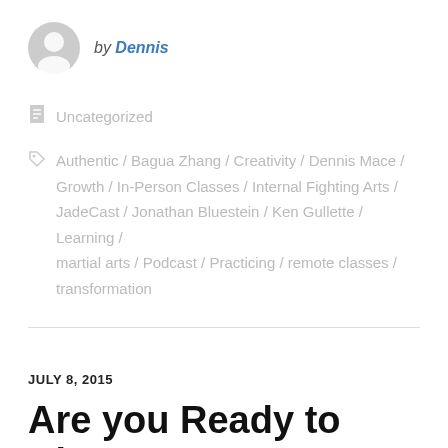by Dennis
Uncategorized
Authentic / Bagua Zhang / Creativity / Dennis Mace / Growth / In-Person Classes / Internal Fighting Arts / JadeCast / Jonathan Bluestein / Ken Gullette / Learning / martial arts / Podcast / Practicing / remote classes / transformation
JULY 8, 2015
Are you Ready to Change